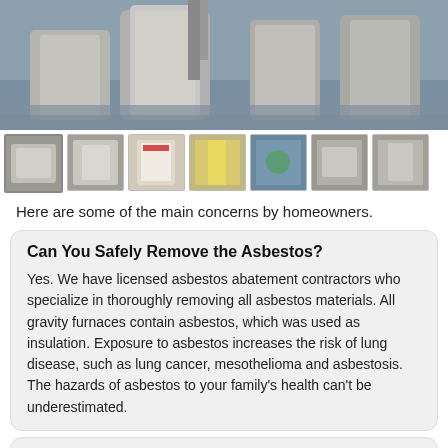[Figure (photo): Large photo of asbestos-covered gravity furnace components in a basement, gray dusty materials visible]
[Figure (photo): Row of 7 thumbnail images showing various views of gravity furnaces and asbestos-related equipment]
Here are some of the main concerns by homeowners.
Can You Safely Remove the Asbestos?
Yes. We have licensed asbestos abatement contractors who specialize in thoroughly removing all asbestos materials. All gravity furnaces contain asbestos, which was used as insulation. Exposure to asbestos increases the risk of lung disease, such as lung cancer, mesothelioma and asbestosis. The hazards of asbestos to your family's health can't be underestimated.
Can My Gravity Furnace Be Repaired?
No. These old products had been discontinued a long time